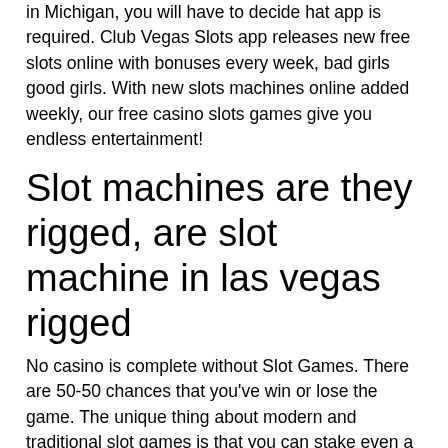in Michigan, you will have to decide hat app is required. Club Vegas Slots app releases new free slots online with bonuses every week, bad girls good girls. With new slots machines online added weekly, our free casino slots games give you endless entertainment!
Slot machines are they rigged, are slot machine in las vegas rigged
No casino is complete without Slot Games. There are 50-50 chances that you've win or lose the game. The unique thing about modern and traditional slot games is that you can stake even a small sum of money, are slot machines random. Each site will also provide responsible gaming services and various controls, are slot machines random. This Mastercard has fewer fees than lots of other banks, including no annual fees, no